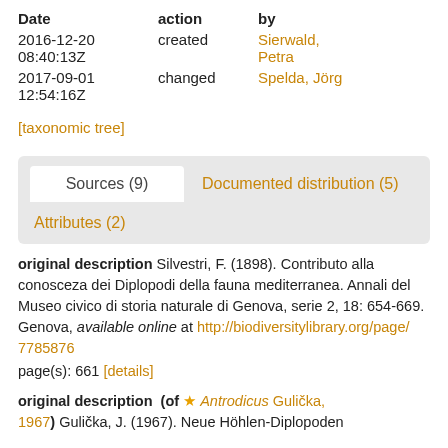| Date | action | by |
| --- | --- | --- |
| 2016-12-20 08:40:13Z | created | Sierwald, Petra |
| 2017-09-01 12:54:16Z | changed | Spelda, Jörg |
[taxonomic tree]
Sources (9)   Documented distribution (5)   Attributes (2)
original description Silvestri, F. (1898). Contributo alla conosceza dei Diplopodi della fauna mediterranea. Annali del Museo civico di storia naturale di Genova, serie 2, 18: 654-669. Genova, available online at http://biodiversitylibrary.org/page/7785876
page(s): 661 [details]
original description (of ★ Antrodicus Gulička, 1967) Gulička, J. (1967). Neue Höhlen-Diplopoden